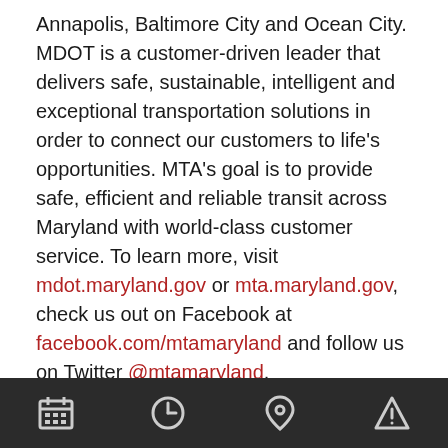Annapolis, Baltimore City and Ocean City. MDOT is a customer-driven leader that delivers safe, sustainable, intelligent and exceptional transportation solutions in order to connect our customers to life's opportunities. MTA's goal is to provide safe, efficient and reliable transit across Maryland with world-class customer service. To learn more, visit mdot.maryland.gov or mta.maryland.gov, check us out on Facebook at facebook.com/mtamaryland and follow us on Twitter @mtamaryland.
MEDIA CONTACTS:
Sandy Arnette
Office: 410-767-8367
Cell: 443-835-7984
sarnette@mta.maryland.gov
[Figure (other): Bottom navigation bar with four icons: calendar, clock, location pin, and warning/alert triangle]